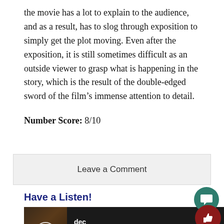the movie has a lot to explain to the audience, and as a result, has to slog through exposition to simply get the plot moving. Even after the exposition, it is still sometimes difficult as an outside viewer to grasp what is happening in the story, which is the result of the double-edged sword of the film’s immense attention to detail.
Number Score: 8/10
Leave a Comment
Have a Listen!
[Figure (other): Audio player widget showing a dark-themed music player with album art thumbnail, play button, track title 'dec', artist 'yvngcaro', and a progress bar with skip controls.]